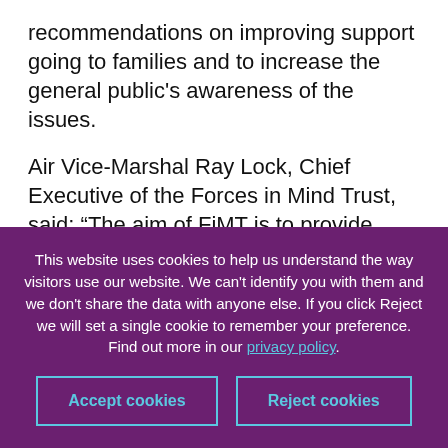recommendations on improving support going to families and to increase the general public's awareness of the issues.
Air Vice-Marshal Ray Lock, Chief Executive of the Forces in Mind Trust, said: “The aim of FiMT is to provide independent, evidence-based knowledge that can be used to increase understanding and
This website uses cookies to help us understand the way visitors use our website. We can’t identify you with them and we don’t share the data with anyone else. If you click Reject we will set a single cookie to remember your preference. Find out more in our privacy policy.
Accept cookies
Reject cookies